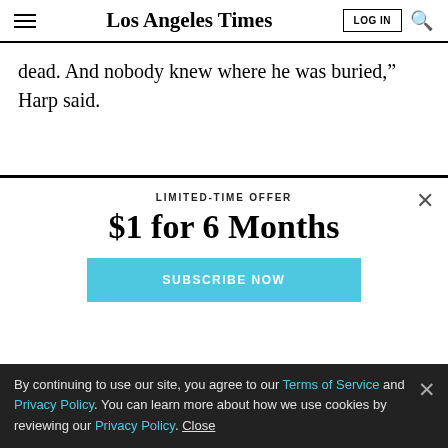Los Angeles Times
dead. And nobody knew where he was buried," Harp said.
LIMITED-TIME OFFER
$1 for 6 Months
SUBSCRIBE NOW
By continuing to use our site, you agree to our Terms of Service and Privacy Policy. You can learn more about how we use cookies by reviewing our Privacy Policy. Close